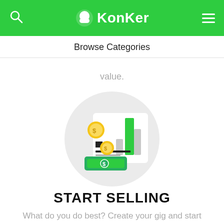KonKer
Browse Categories
value.
[Figure (illustration): A circular light gray illustration featuring a bar chart with a tall green bar and smaller gray bars, two gold coins with dollar signs, green paper currency with a dollar sign, a white card/document, and a small black square element, all representing selling and earning money.]
START SELLING
What do you do best? Create your gig and start selling. It's free, and only takes 5